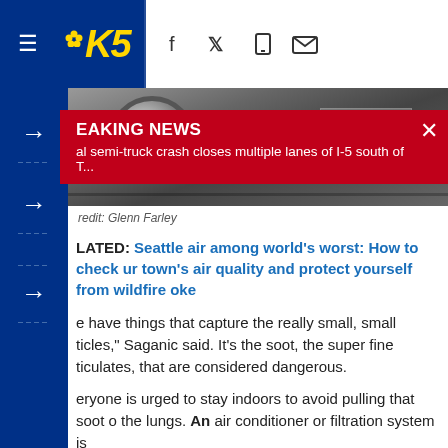KING5 News navigation bar with logo and social icons
BREAKING NEWS
al semi-truck crash closes multiple lanes of I-5 south of T...
[Figure (photo): Close-up photo of an air conditioning or filtration unit, showing a fan/blower wheel and a label plate, shot from below/inside the unit. Dark metal housing.]
redit: Glenn Farley
LATED: Seattle air among world's worst: How to check ur town's air quality and protect yourself from wildfire oke
e have things that capture the really small, small ticles," Saganic said. It's the soot, the super fine ticulates, that are considered dangerous.
eryone is urged to stay indoors to avoid pulling that soot o the lungs. An air conditioner or filtration system is